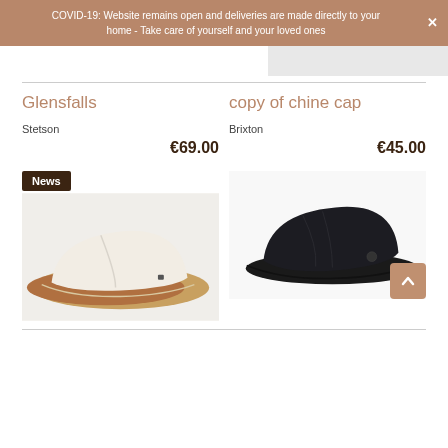COVID-19: Website remains open and deliveries are made directly to your home - Take care of yourself and your loved ones
Glensfalls
copy of chine cap
Stetson
Brixton
€69.00
€45.00
[Figure (photo): White/cream flat cap with brown leather brim underside, shown from side angle. News badge label in top left.]
[Figure (photo): Dark navy/black flat cap shown from side angle with back-to-top arrow button overlay.]